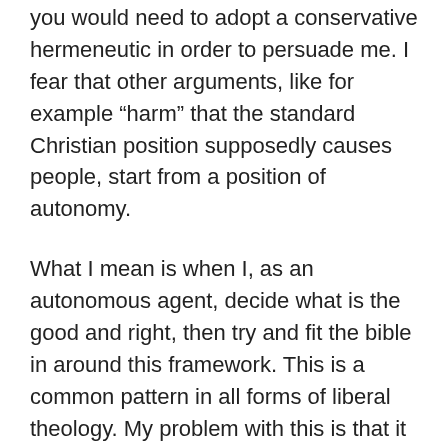you would need to adopt a conservative hermeneutic in order to persuade me. I fear that other arguments, like for example “harm” that the standard Christian position supposedly causes people, start from a position of autonomy.
What I mean is when I, as an autonomous agent, decide what is the good and right, then try and fit the bible in around this framework. This is a common pattern in all forms of liberal theology. My problem with this is that it is basically presumptious, in that it assumes that we know what harms people better than God does.
The fact is, it seems to me the jury is out even from a secular perspective on how harmful homosexual lifestyles are. I would, though, not